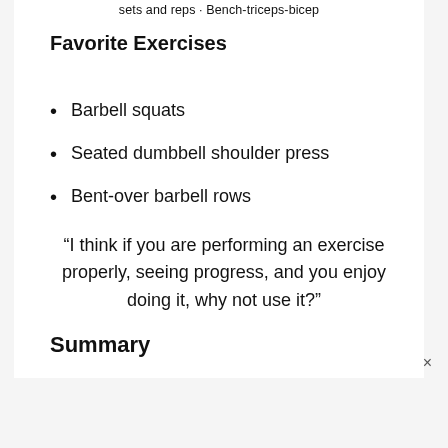sets and reps · Bench-triceps-bicep
Favorite Exercises
Barbell squats
Seated dumbbell shoulder press
Bent-over barbell rows
“I think if you are performing an exercise properly, seeing progress, and you enjoy doing it, why not use it?”
Summary